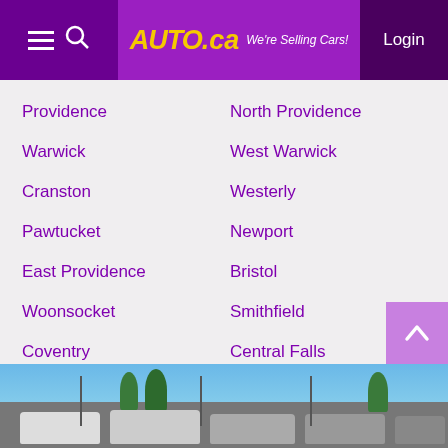AUTA.ca We're Selling Cars! Login
Providence
North Providence
Warwick
West Warwick
Cranston
Westerly
Pawtucket
Newport
East Providence
Bristol
Woonsocket
Smithfield
Coventry
Central Falls
Cumberland
Tiverton
[Figure (photo): Car dealership lot with multiple vehicles parked outdoors under a blue sky with trees in background]